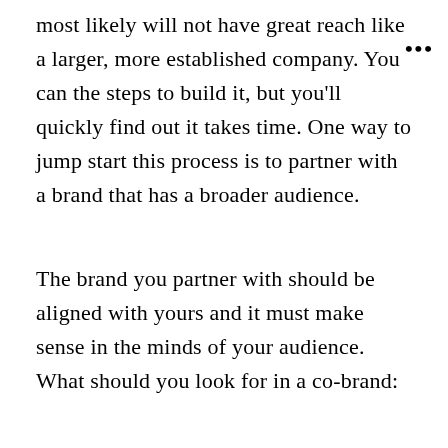most likely will not have great reach like a larger, more established company. You can the steps to build it, but you'll quickly find out it takes time. One way to jump start this process is to partner with a brand that has a broader audience.
The brand you partner with should be aligned with yours and it must make sense in the minds of your audience. What should you look for in a co-brand: